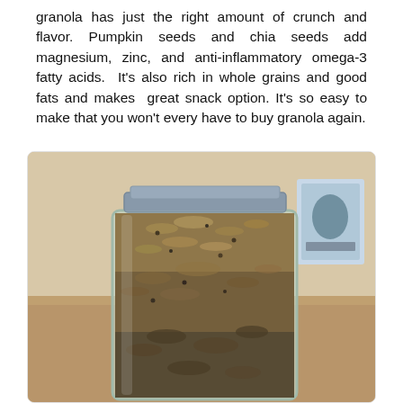granola has just the right amount of crunch and flavor. Pumpkin seeds and chia seeds add magnesium, zinc, and anti-inflammatory omega-3 fatty acids.  It's also rich in whole grains and good fats and makes  great snack option. It's so easy to make that you won't every have to buy granola again.
[Figure (photo): A glass mason jar filled with homemade granola (oats, pumpkin seeds, chia seeds) sitting on a granite countertop. A small illustrated card is visible in the background on the right.]